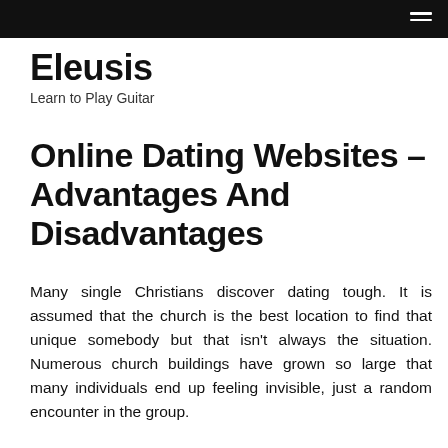Eleusis
Learn to Play Guitar
Online Dating Websites – Advantages And Disadvantages
Many single Christians discover dating tough. It is assumed that the church is the best location to find that unique somebody but that isn't always the situation. Numerous church buildings have grown so large that many individuals end up feeling invisible, just a random encounter in the group.
Today my viewpoint is if your venturing into a scenario like this,you're probably setting yourself up for failure. Work with me here, you have spent a quantity of many